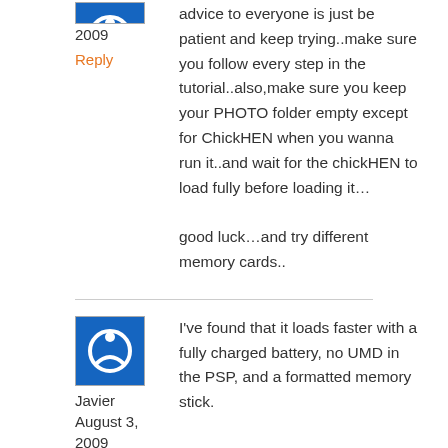2009
advice to everyone is just be patient and keep trying..make sure you follow every step in the tutorial..also,make sure you keep your PHOTO folder empty except for ChickHEN when you wanna run it..and wait for the chickHEN to load fully before loading it…
good luck…and try different memory cards..
Reply
Javier August 3, 2009
I've found that it loads faster with a fully charged battery, no UMD in the PSP, and a formatted memory stick.
Reply
shella tunacao
helo..thanks for the information..but sadly the chickhen2 wont work on my